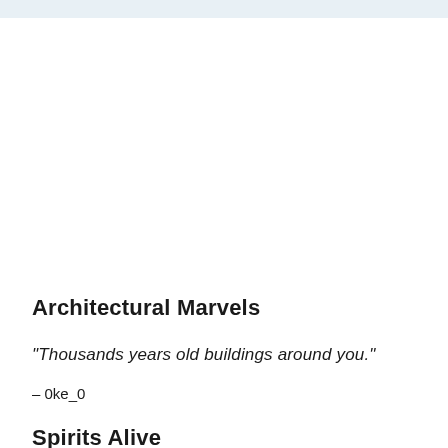Architectural Marvels
"Thousands years old buildings around you."
– 0ke_0
Spirits Alive